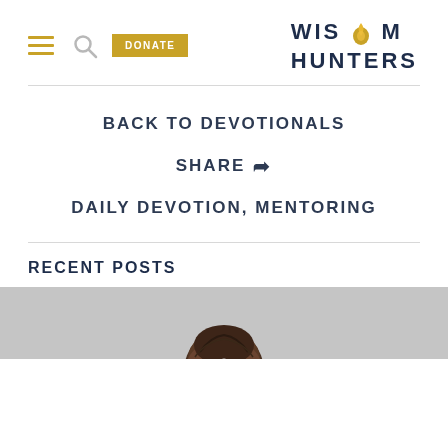WISDOM HUNTERS
BACK TO DEVOTIONALS
SHARE
DAILY DEVOTION, MENTORING
RECENT POSTS
[Figure (photo): Bottom portion of page showing a person from behind with dark hair, cropped at the top of the image.]